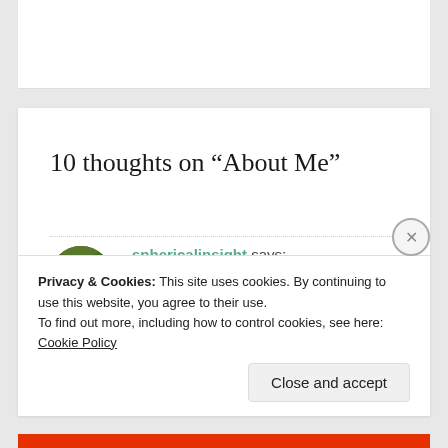10 thoughts on “About Me”
sphericalinsight says:
NOVEMBER 26, 2016 AT 7:37 AM
Privacy & Cookies: This site uses cookies. By continuing to use this website, you agree to their use.
To find out more, including how to control cookies, see here: Cookie Policy
Close and accept